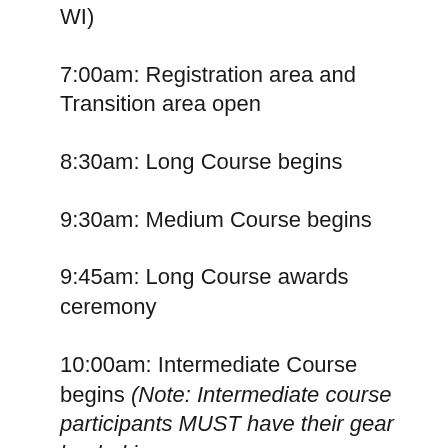WI)
7:00am: Registration area and Transition area open
8:30am: Long Course begins
9:30am: Medium Course begins
9:45am: Long Course awards ceremony
10:00am: Intermediate Course begins (Note: Intermediate course participants MUST have their gear loaded in